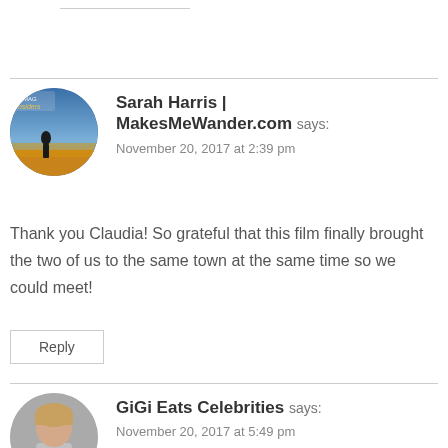Sarah Harris | MakesMeWander.com says:
November 20, 2017 at 2:39 pm

Thank you Claudia! So grateful that this film finally brought the two of us to the same town at the same time so we could meet!
Reply
GiGi Eats Celebrities says:
November 20, 2017 at 5:49 pm